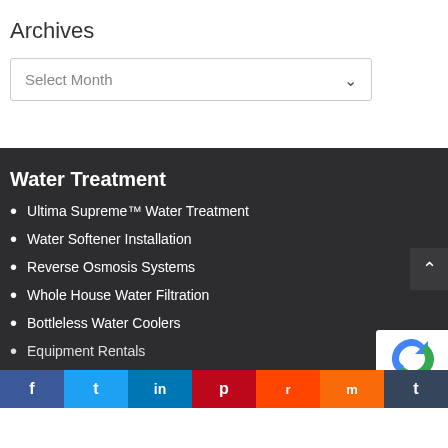Archives
Select Month
Water Treatment
Ultima Supreme™ Water Treatment
Water Softener Installation
Reverse Osmosis Systems
Whole House Water Filtration
Bottleless Water Coolers
Equipment Rentals
f  t  in  p  reddit  mix  t